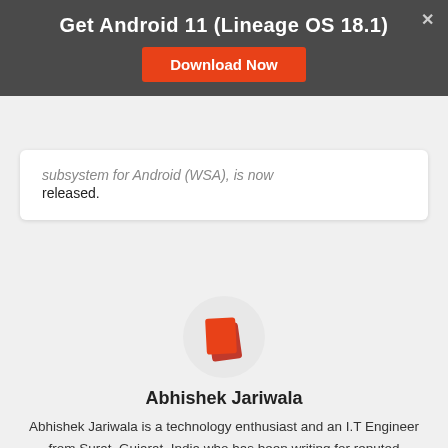Get Android 11 (Lineage OS 18.1)
Download Now
subsystem for Android (WSA) is now released.
[Figure (logo): Orange stacked cards logo icon]
Abhishek Jariwala
Abhishek Jariwala is a technology enthusiast and an I.T Engineer from Surat, Gujarat, India who has been writing for reputed Technology websites. He has been writing news, reviews and guides on various topics related to Android. He can be seen using his brand new OnePlus 5T.